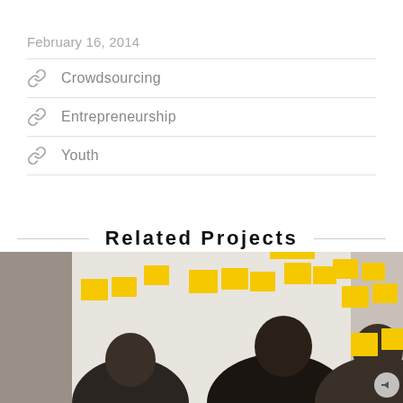February 16, 2014
Crowdsourcing
Entrepreneurship
Youth
Related Projects
[Figure (photo): People from behind looking at sticky notes on a wall during a workshop or brainstorming session]